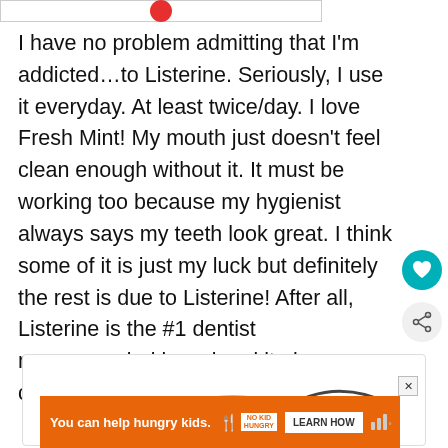[Figure (other): Partial top strip with a red circle icon, bordered box]
I have no problem admitting that I'm addicted…to Listerine. Seriously, I use it everyday. At least twice/day. I love Fresh Mint! My mouth just doesn't feel clean enough without it. It must be working too because my hygienist always says my teeth look great. I think some of it is just my luck but definitely the rest is due to Listerine! After all, Listerine is the #1 dentist recommended brand and it gives you cleaner, healthier mouth.
[Figure (other): Teal circular heart/like button icon]
[Figure (other): Light gray circular share button icon]
[Figure (other): Bordered content box with partial pink circle shape and arc line at bottom]
[Figure (other): Orange advertisement banner: 'You can help hungry kids.' with No Kid Hungry logo and LEARN HOW button]